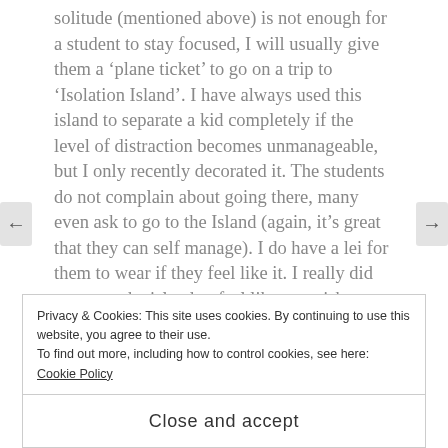solitude (mentioned above) is not enough for a student to stay focused, I will usually give them a 'plane ticket' to go on a trip to 'Isolation Island'. I have always used this island to separate a kid completely if the level of distraction becomes unmanageable, but I only recently decorated it. The students do not complain about going there, many even ask to go to the Island (again, it's great that they can self manage). I do have a lei for them to wear if they feel like it. I really did not want the island to feel like a punishment, and I think I have been successful with that.
(I got the 3 dimensional decorations, and fancy 2 dimensional decorations like the palm trees are from the
Privacy & Cookies: This site uses cookies. By continuing to use this website, you agree to their use.
To find out more, including how to control cookies, see here: Cookie Policy
Close and accept